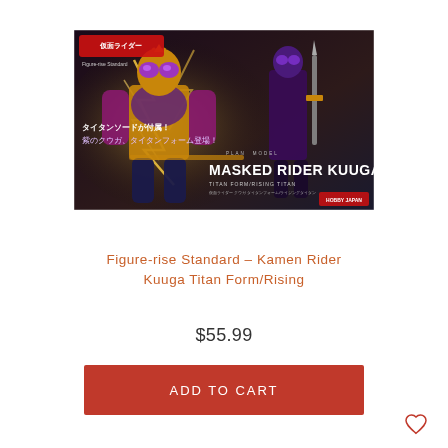[Figure (photo): Product box art for Figure-rise Standard Masked Rider Kuuga Titan Form/Rising Titan. Shows a gold and purple armored hero with glowing effects on a dark background. Japanese text visible. Large text reads 'MASKED RIDER KUUGA' with 'TITAN FORM/RISING TITAN' subtitle. Figure-rise Standard logo and Hobby Japan logo visible.]
Figure-rise Standard - Kamen Rider Kuuga Titan Form/Rising
$55.99
ADD TO CART